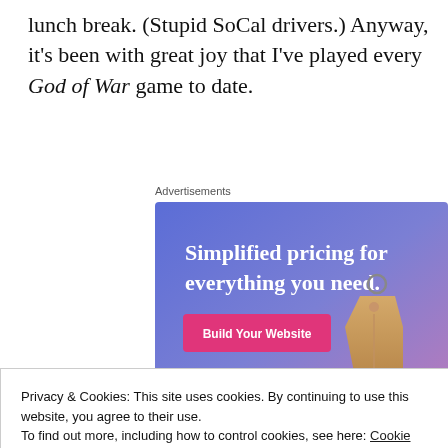lunch break. (Stupid SoCal drivers.) Anyway, it's been with great joy that I've played every God of War game to date.
Advertisements
[Figure (illustration): Advertisement banner with gradient background (blue to purple/pink) showing text 'Simplified pricing for everything you need.' with a pink 'Build Your Website' button and a 3D price tag image on the right.]
Privacy & Cookies: This site uses cookies. By continuing to use this website, you agree to their use.
To find out more, including how to control cookies, see here: Cookie Policy
Close and accept